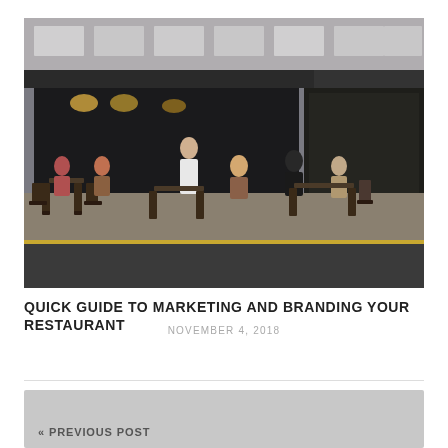[Figure (photo): Outdoor restaurant seating with patrons dining at small tables on a city sidewalk, a waiter in white shirt serving customers, storefront with large windows in background, urban street scene]
QUICK GUIDE TO MARKETING AND BRANDING YOUR RESTAURANT
NOVEMBER 4, 2018
« PREVIOUS POST